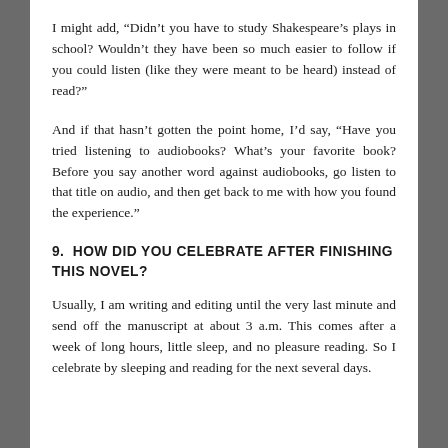I might add, “Didn’t you have to study Shakespeare’s plays in school? Wouldn’t they have been so much easier to follow if you could listen (like they were meant to be heard) instead of read?”
And if that hasn’t gotten the point home, I’d say, “Have you tried listening to audiobooks? What’s your favorite book? Before you say another word against audiobooks, go listen to that title on audio, and then get back to me with how you found the experience.”
9.  HOW DID YOU CELEBRATE AFTER FINISHING THIS NOVEL?
Usually, I am writing and editing until the very last minute and send off the manuscript at about 3 a.m. This comes after a week of long hours, little sleep, and no pleasure reading. So I celebrate by sleeping and reading for the next several days.